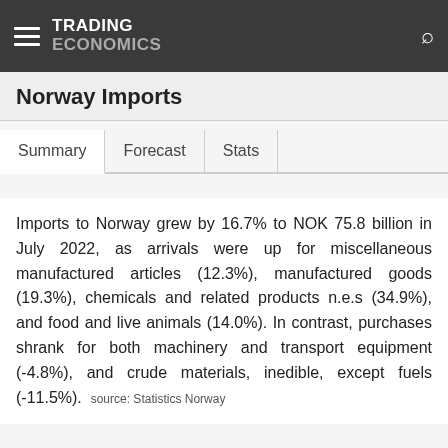TRADING ECONOMICS
Norway Imports
Summary   Forecast   Stats
Imports to Norway grew by 16.7% to NOK 75.8 billion in July 2022, as arrivals were up for miscellaneous manufactured articles (12.3%), manufactured goods (19.3%), chemicals and related products n.e.s (34.9%), and food and live animals (14.0%). In contrast, purchases shrank for both machinery and transport equipment (-4.8%), and crude materials, inedible, except fuels (-11.5%). source: Statistics Norway